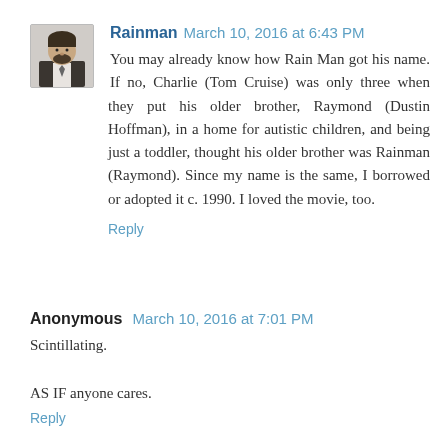[Figure (photo): Avatar photo of Rainman - a man with dark hair and beard in a suit]
Rainman March 10, 2016 at 6:43 PM
You may already know how Rain Man got his name. If no, Charlie (Tom Cruise) was only three when they put his older brother, Raymond (Dustin Hoffman), in a home for autistic children, and being just a toddler, thought his older brother was Rainman (Raymond). Since my name is the same, I borrowed or adopted it c. 1990. I loved the movie, too.
Reply
Anonymous March 10, 2016 at 7:01 PM
Scintillating.
AS IF anyone cares.
Reply